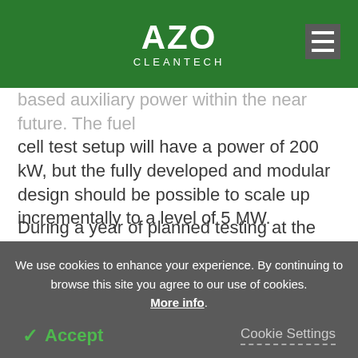AZO CLEANTECH
based auxiliary power within the near future. The fuel cell test setup will have a power of 200 kW, but the fully developed and modular design should be possible to scale up incrementally to a level of 5 MW.
During a year of planned testing at the Alfa Laval Test & Training Centre, the fuel cell system’s durability and lifetime will be in focus. HTPEM fuel cells have a higher tolerance for thermal cycling than other fuel cell
We use cookies to enhance your experience. By continuing to browse this site you agree to our use of cookies. More info.
✓ Accept
Cookie Settings